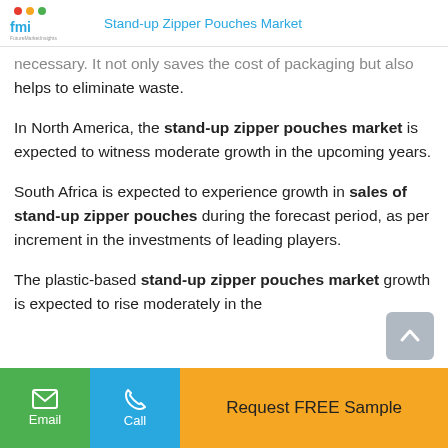fmi | Stand-up Zipper Pouches Market
necessary. It not only saves the cost of packaging but also helps to eliminate waste.
In North America, the stand-up zipper pouches market is expected to witness moderate growth in the upcoming years.
South Africa is expected to experience growth in sales of stand-up zipper pouches during the forecast period, as per increment in the investments of leading players.
The plastic-based stand-up zipper pouches market growth is expected to rise moderately in the
Email | Call | Request FREE Sample